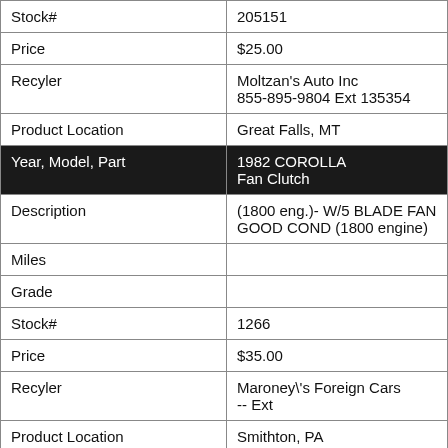| Field | Value |
| --- | --- |
| Stock# | 205151 |
| Price | $25.00 |
| Recyler | Moltzan's Auto Inc
855-895-9804 Ext 135354 |
| Product Location | Great Falls, MT |
| Year, Model, Part | 1982 COROLLA
Fan Clutch |
| Description | (1800 eng.)- W/5 BLADE FAN GOOD COND (1800 engine) |
| Miles |  |
| Grade |  |
| Stock# | 1266 |
| Price | $35.00 |
| Recyler | Maroney\'s Foreign Cars
-- Ext |
| Product Location | Smithton, PA |